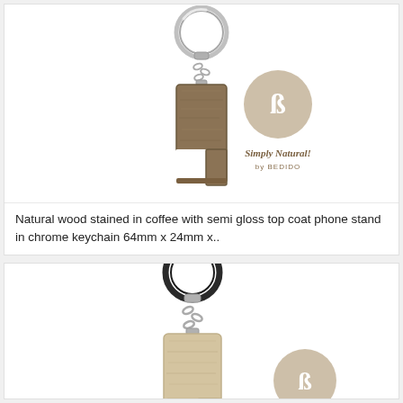[Figure (photo): Natural wood phone stand keychain stained in coffee/dark brown color with chrome keyring and chain, shown with Simply Natural! by BEDIDO logo]
Natural wood stained in coffee with semi gloss top coat phone stand in chrome keychain 64mm x 24mm x..
[Figure (photo): Natural wood phone stand keychain in lighter natural wood color with dark keyring and chain, shown with Simply Natural! by BEDIDO logo partially visible]